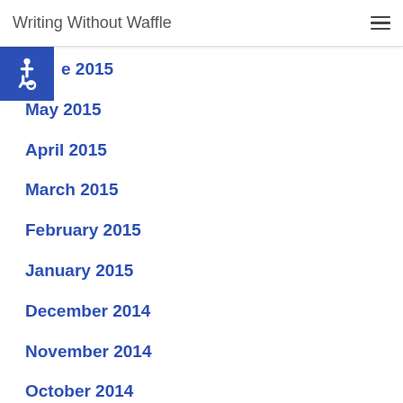Writing Without Waffle
June 2015
May 2015
April 2015
March 2015
February 2015
January 2015
December 2014
November 2014
October 2014
September 2014